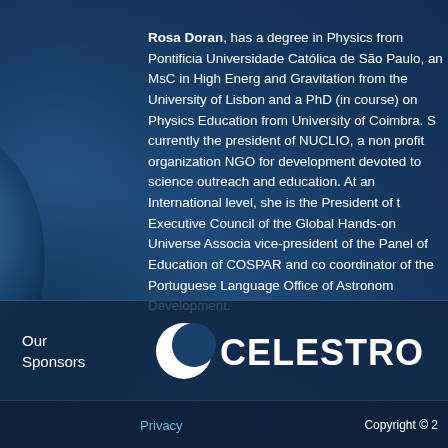Rosa Doran, has a degree in Physics from Pontificia Universidade Católica de São Paulo, an MsC in High Energy and Gravitation from the University of Lisbon and a PhD (in course) on Physics Education from University of Coimbra. S currently the president of NUCLIO, a non profit organization NGO for development devoted to science outreach and education. At an International level, she is the President of the Executive Council of the Global Hands-on Universe Associa vice-president of the Panel of Education of COSPAR and co coordinator of the Portuguese Language Office of Astronom Development.
Our Sponsors
[Figure (logo): Celestron logo — white crescent moon/lens icon followed by CELESTRON wordmark in white]
Privacy    Copyright ©